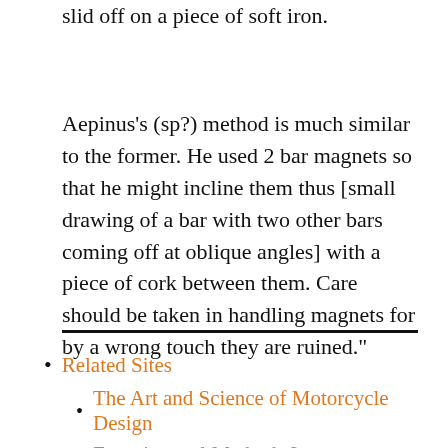slid off on a piece of soft iron.
Aepinus’s (sp?) method is much similar to the former. He used 2 bar magnets so that he might incline them thus [small drawing of a bar with two other bars coming off at oblique angles] with a piece of cork between them. Care should be taken in handling magnets for by a wrong touch they are ruined.”
Related Sites
The Art and Science of Motorcycle Design
Experimental Methods I